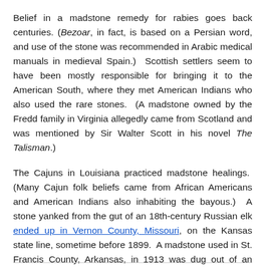Belief in a madstone remedy for rabies goes back centuries. (Bezoar, in fact, is based on a Persian word, and use of the stone was recommended in Arabic medical manuals in medieval Spain.)  Scottish settlers seem to have been mostly responsible for bringing it to the American South, where they met American Indians who also used the rare stones.  (A madstone owned by the Fredd family in Virginia allegedly came from Scotland and was mentioned by Sir Walter Scott in his novel The Talisman.)
The Cajuns in Louisiana practiced madstone healings.  (Many Cajun folk beliefs came from African Americans and American Indians also inhabiting the bayous.)  A stone yanked from the gut of an 18th-century Russian elk ended up in Vernon County, Missouri, on the Kansas state line, sometime before 1899.  A madstone used in St. Francis County, Arkansas, in 1913 was dug out of an ancient Indian burial mound.